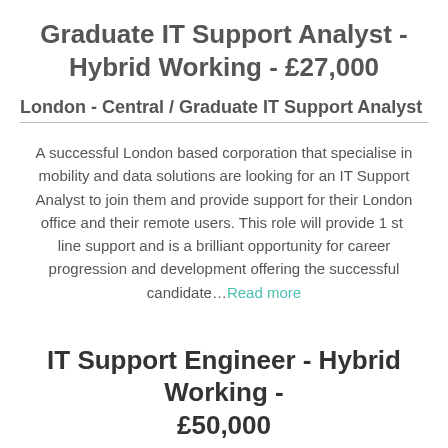Graduate IT Support Analyst - Hybrid Working - £27,000
London - Central / Graduate IT Support Analyst
A successful London based corporation that specialise in mobility and data solutions are looking for an IT Support Analyst to join them and provide support for their London office and their remote users. This role will provide 1 st line support and is a brilliant opportunity for career progression and development offering the successful candidate…Read more
IT Support Engineer - Hybrid Working - £50,000